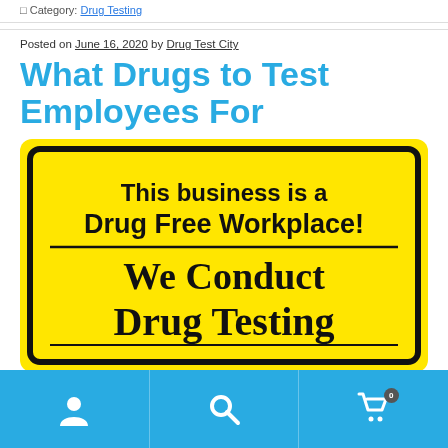Category: Drug Testing
Posted on June 16, 2020 by Drug Test City
What Drugs to Test Employees For
[Figure (photo): Yellow sign reading 'This business is a Drug Free Workplace! We Conduct Drug Testing']
Navigation bar with user, search, and cart icons